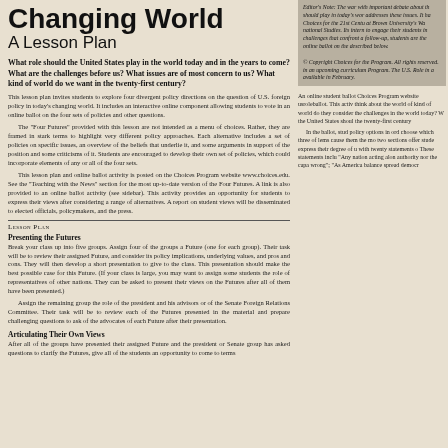Changing World
A Lesson Plan
What role should the United States play in the world today and in the years to come? What are the challenges before us? What issues are of most concern to us? What kind of world do we want in the twenty-first century?
This lesson plan invites students to explore four divergent policy directions on the question of U.S. foreign policy in today's changing world. It includes an interactive online component allowing students to vote in an online ballot on the four sets of policies and other questions.

The "Four Futures" provided with this lesson are not intended as a menu of choices. Rather, they are framed in stark terms to highlight very different policy approaches. Each alternative includes a set of policies on specific issues, an overview of the beliefs that underlie it, and some arguments in support of the position and some criticisms of it. Students are encouraged to develop their own set of policies, which could incorporate elements of any or all of the four sets.

This lesson plan and online ballot activity is posted on the Choices Program website www.choices.edu. See the "Teaching with the News" section for the most up-to-date version of the Four Futures. A link is also provided to an online ballot activity (see sidebar). This activity provides an opportunity for students to express their views after considering a range of alternatives. A report on student views will be disseminated to elected officials, policymakers, and the press.
Lesson Plan
Presenting the Futures
Break your class up into five groups. Assign four of the groups a Future (one for each group). Their task will be to review their assigned Future, and consider its policy implications, underlying values, and pros and cons. They will then develop a short presentation to give to the class. This presentation should make the best possible case for this Future. (If your class is large, you may want to assign some students the role of representatives of other nations. They can be asked to present their views on the Futures after all of them have been presented.)

Assign the remaining group the role of the president and his advisors or of the Senate Foreign Relations Committee. Their task will be to review each of the Futures presented in the material and prepare challenging questions to ask of the advocates of each Future after their presentation.
Articulating Their Own Views
After all of the groups have presented their assigned Future and the president or Senate group has asked questions to clarify the Futures, give all of the students an opportunity to come to terms
Editor's Note: The war with important debate about th should play in today's wor addresses these issues. It ha Choices for the 21st Centu at Brown University's Wa national Studies. Its intern to engage their students in challenges that confront a follow-up, students are the online ballot on the described below.

© Copyright Choices for the Program. All rights reserved. in an upcoming curriculum Program. The U.S. Role in a available in February.
An online student ballot Choices Program website usroleballot. This activ think about the world of kind of world do they consider the challenges in the world today? W the United States shoul the twenty-first century

In the ballot, stud policy options in ord choose which three of lems cause them the mo two sections offer stude express their degree of u with twenty statements o These statements inclu "Any nation acting alon authority nor the capa wrong"; "As America balance spread democr